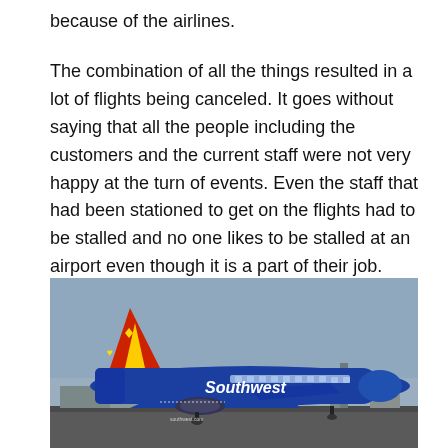because of the airlines.
The combination of all the things resulted in a lot of flights being canceled. It goes without saying that all the people including the customers and the current staff were not very happy at the turn of events. Even the staff that had been stationed to get on the flights had to be stalled and no one likes to be stalled at an airport even though it is a part of their job.
[Figure (photo): A Southwest Airlines blue Boeing 737 aircraft on a tarmac. The plane has the Southwest Airlines livery with red and yellow on the tail fin and 'Southwest' written in white on the blue fuselage. Airport infrastructure visible in the background under an overcast sky.]